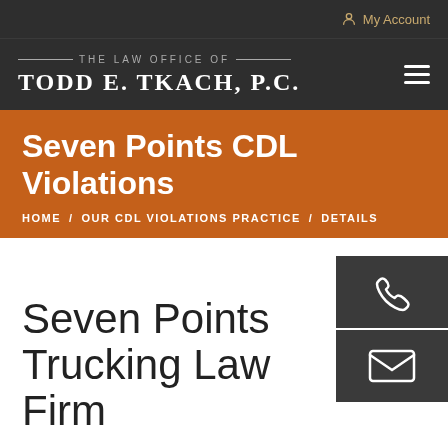My Account
[Figure (logo): The Law Office of Todd E. Tkach, P.C. logo with hamburger menu icon]
Seven Points CDL Violations
HOME / OUR CDL VIOLATIONS PRACTICE / DETAILS
[Figure (illustration): Phone and email contact widget icons on dark background]
Seven Points Trucking Law Firm
A qualified Seven Points trucking law firm is absolutely necessary for any CDL holder who received a traffic citation. Obtaining and holding a Commercial Driver's License is quite unique. Not only for the rigorous